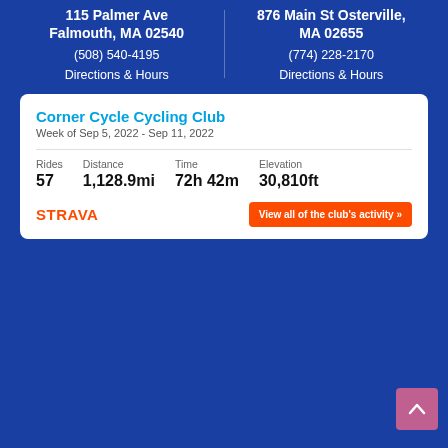115 Palmer Ave Falmouth, MA 02540
(508) 540-4195
Directions & Hours
876 Main St Osterville, MA 02655
(774) 228-2170
Directions & Hours
Corner Cycle Cycling Club
Week of Sep 5, 2022 - Sep 11, 2022
| Rides | Distance | Time | Elevation |
| --- | --- | --- | --- |
| 57 | 1,128.9mi | 72h 42m | 30,810ft |
STRAVA
View all of the club's activity »